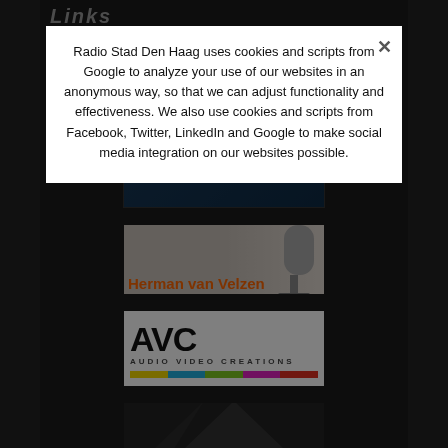Radio Stad Den Haag uses cookies and scripts from Google to analyze your use of our websites in an anonymous way, so that we can adjust functionality and effectiveness. We also use cookies and scripts from Facebook, Twitter, LinkedIn and Google to make social media integration on our websites possible.
[Figure (logo): DJ Brugge DJ & Entertainer logo card with dark blue background]
[Figure (photo): Herman van Velzen - black and white photo of person with microphone, orange text name overlay]
[Figure (logo): AVC Audio Video Creations logo with colorful bar at bottom]
[Figure (logo): Partial logo card at bottom of page, partially cut off]